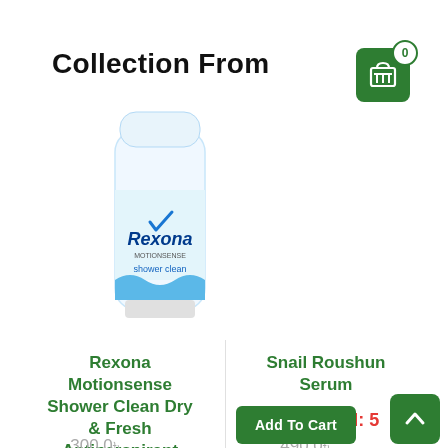Collection From
[Figure (photo): Rexona Motionsense Shower Clean deodorant stick product photo]
Rexona Motionsense Shower Clean Dry & Fresh Antiperspirant 40ml
Snail Roushun Serum
Total Sold: 5
490.0৳
300.0৳
Add To Cart